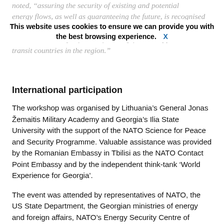noted, "assuring the security of existing and potential energy flows, as well as guaranteeing the future, is recognised as one of the strategic interests for European energy security but it is also a major factor of security for the supplier and transit countries in the region."
This website uses cookies to ensure we can provide you with the best browsing experience.  X
International participation
The workshop was organised by Lithuania's General Jonas Žemaitis Military Academy and Georgia's Ilia State University with the support of the NATO Science for Peace and Security Programme. Valuable assistance was provided by the Romanian Embassy in Tbilisi as the NATO Contact Point Embassy and by the independent think-tank 'World Experience for Georgia'.
The event was attended by representatives of NATO, the US State Department, the Georgian ministries of energy and foreign affairs, NATO's Energy Security Centre of Excellence, NATO Liaison Office in Tbilisi, Vytautas Magnus University (Lithuania), Nazarbayev University (Kazakhstan), the Graduate Institute of